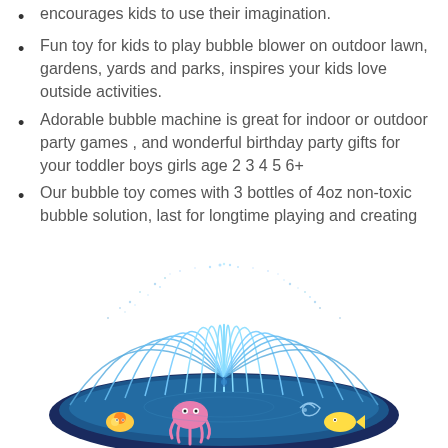encourages kids to use their imagination.
Fun toy for kids to play bubble blower on outdoor lawn, gardens, yards and parks, inspires your kids love outside activities.
Adorable bubble machine is great for indoor or outdoor party games , and wonderful birthday party gifts for your toddler boys girls age 2 3 4 5 6+
Our bubble toy comes with 3 bottles of 4oz non-toxic bubble solution, last for longtime playing and creating dreamy bubble atmosphere.
[Figure (photo): A round splash pad / sprinkler water toy with blue water jets arching upward creating a fountain dome effect. The pad has ocean-themed designs including a pink octopus, sea creatures, and colorful aquatic graphics on a dark blue base.]